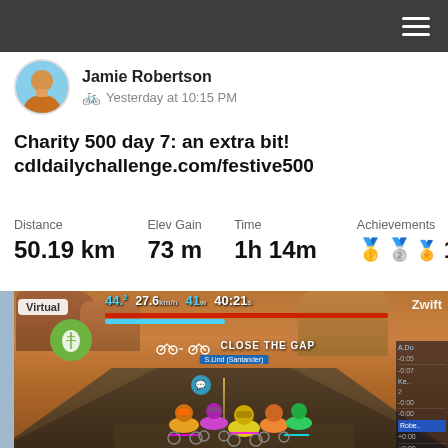Jamie Robertson
🚲 Yesterday at 10:15 PM
Charity 500 day 7: an extra bit!
cdldailychallenge.com/festive500
Distance: 50.19 km | Elev Gain: 73 m | Time: 1h 14m | Achievements: 13
[Figure (screenshot): Zwift virtual cycling game screenshot showing group of cyclists riding through a desert canyon environment with HUD overlay showing speed 27.6, distance 44.2, power 41, time 40:21. 'CLOSE THE GAP' message on screen. Virtual tag in upper left. Zwift logo upper right. Right sidebar with rider list.]